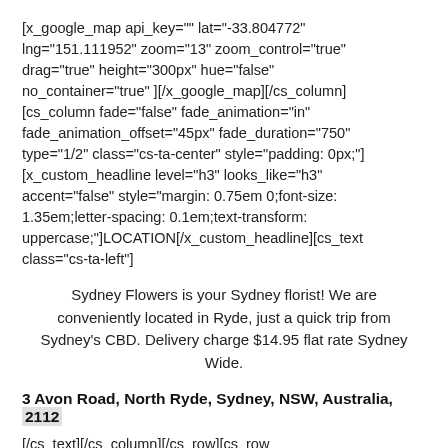[x_google_map api_key="" lat="-33.804772" lng="151.111952" zoom="13" zoom_control="true" drag="true" height="300px" hue="false" no_container="true" ][/x_google_map][/cs_column][cs_column fade="false" fade_animation="in" fade_animation_offset="45px" fade_duration="750" type="1/2" class="cs-ta-center" style="padding: 0px;"][x_custom_headline level="h3" looks_like="h3" accent="false" style="margin: 0.75em 0;font-size: 1.35em;letter-spacing: 0.1em;text-transform: uppercase;"]LOCATION[/x_custom_headline][cs_text class="cs-ta-left"]
Sydney Flowers is your Sydney florist! We are conveniently located in Ryde, just a quick trip from Sydney's CBD. Delivery charge $14.95 flat rate Sydney Wide.
3 Avon Road, North Ryde, Sydney, NSW, Australia, 2112
[/cs_text][/cs_column][/cs_row][cs_row